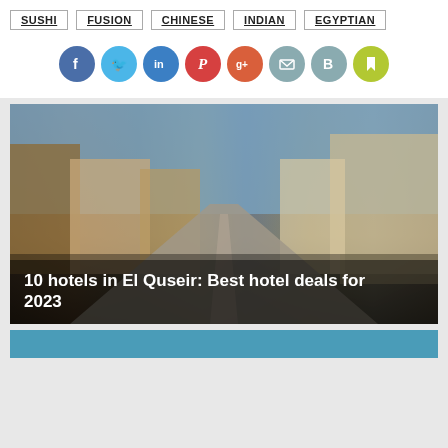SUSHI
FUSION
CHINESE
INDIAN
EGYPTIAN
[Figure (infographic): Row of 8 social media sharing icon circles: Facebook (blue), Twitter (light blue), LinkedIn (blue), Pinterest (red), Google+ (orange-red), Email (teal-grey), Blogger (grey), Bookmark (yellow-green)]
[Figure (photo): Street scene in El Quseir, Egypt. A wide empty road stretches into the distance with buildings on both sides, blue sky above. Sunny daytime.]
10 hotels in El Quseir: Best hotel deals for 2023